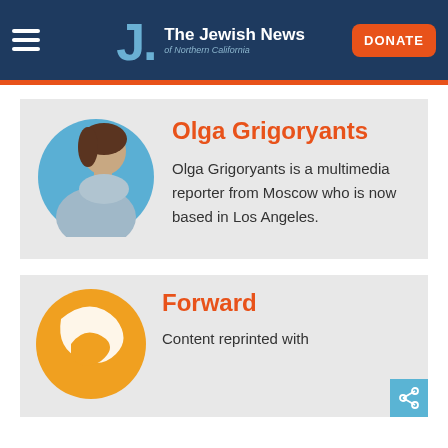The Jewish News of Northern California
Olga Grigoryants
Olga Grigoryants is a multimedia reporter from Moscow who is now based in Los Angeles.
Forward
Content reprinted with